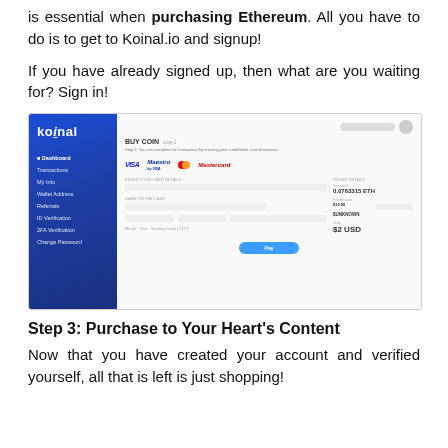is essential when purchasing Ethereum. All you have to do is to get to Koinal.io and signup!
If you have already signed up, then what are you waiting for? Sign in!
[Figure (screenshot): Screenshot of the Koinal.io BUY COIN page showing a payment form with VISA, Maestro, Mastercard, and Mastercard payment options. The left sidebar shows the Koinal logo and navigation menu. The main area has card detail fields and order summary with $2 USD total, and a Pay button.]
Step 3: Purchase to Your Heart's Content
Now that you have created your account and verified yourself, all that is left is just shopping!